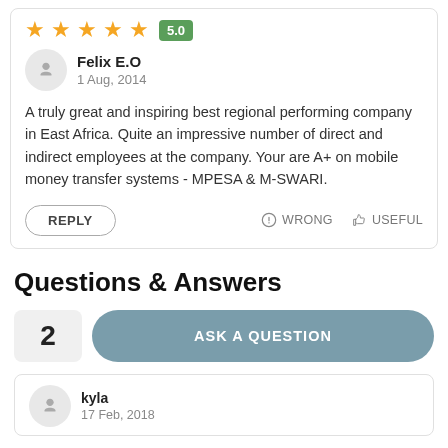[Figure (infographic): 5 orange star rating icons with a green badge showing 5.0]
Felix E.O
1 Aug, 2014
A truly great and inspiring best regional performing company in East Africa. Quite an impressive number of direct and indirect employees at the company. Your are A+ on mobile money transfer systems - MPESA & M-SWARI.
REPLY   WRONG   USEFUL
Questions & Answers
2   ASK A QUESTION
kyla
17 Feb, 2018